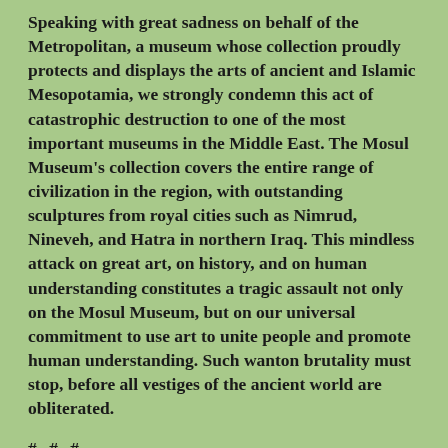Speaking with great sadness on behalf of the Metropolitan, a museum whose collection proudly protects and displays the arts of ancient and Islamic Mesopotamia, we strongly condemn this act of catastrophic destruction to one of the most important museums in the Middle East. The Mosul Museum's collection covers the entire range of civilization in the region, with outstanding sculptures from royal cities such as Nimrud, Nineveh, and Hatra in northern Iraq. This mindless attack on great art, on history, and on human understanding constitutes a tragic assault not only on the Mosul Museum, but on our universal commitment to use art to unite people and promote human understanding. Such wanton brutality must stop, before all vestiges of the ancient world are obliterated.
# # #
February 26, 2015